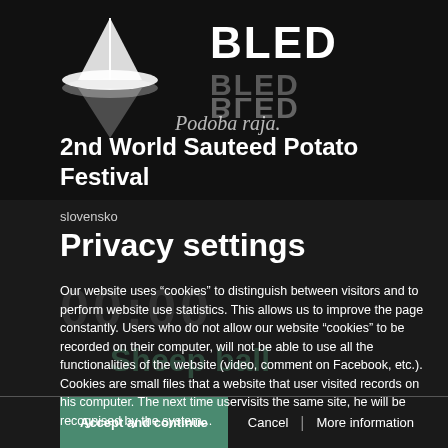[Figure (logo): Bled festival logo with bird/boat illustration and BLED text with reflection, script text 'Podoba raja', and event title '2nd World Sauteed Potato Festival']
slovensko
Privacy settings
Our website uses “cookies” to distinguish between visitors and to perform website use statistics. This allows us to improve the page constantly. Users who do not allow our website “cookies” to be recorded on their computer, will not be able to use all the functionalities of the website (video, comment on Facebook, etc.).
Cookies are small files that a website that user visited records on his computer. The next time uservisits the same site, he will be recognised by the system...
Accept and continue
Cancel
More information